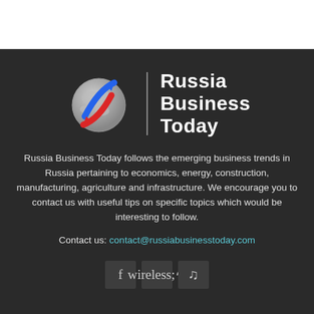[Figure (logo): Russia Business Today logo: globe with red and blue arrows, vertical divider line, and bold white text 'Russia Business Today']
Russia Business Today follows the emerging business trends in Russia pertaining to economics, energy, construction, manufacturing, agriculture and infrastructure. We encourage you to contact us with useful tips on specific topics which would be interesting to follow.
Contact us: contact@russiabusinesstoday.com
[Figure (infographic): Three social media icon boxes: Facebook (f), RSS feed, Twitter (bird/tweet icon)]